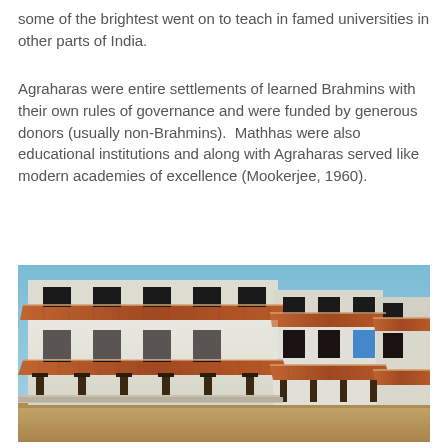some of the brightest went on to teach in famed universities in other parts of India.
Agraharas were entire settlements of learned Brahmins with their own rules of governance and were funded by generous donors (usually non-Brahmins).  Mathhas were also educational institutions and along with Agraharas served like modern academies of excellence (Mookerjee, 1960).
[Figure (photo): Photograph of a traditional South Indian agrahara — a row of white-walled two-storey buildings with terracotta tiled sloping roofs supported by dark wooden pillars, fronted by a verandah and set against a clear blue sky. The foreground shows a sandy/dusty open ground.]